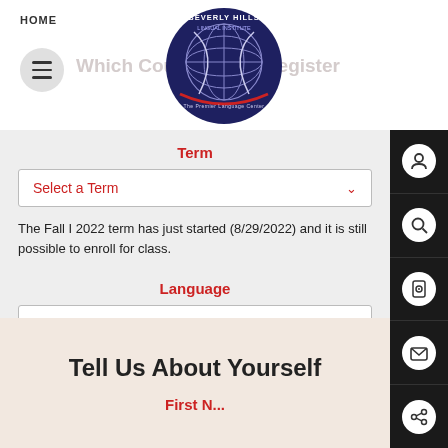HOME
[Figure (logo): Beverly Hills Lingual Institute globe logo with text 'Beverly Hills Lingual Institute - The Premier Language Center']
Which Course to Register
Term
Select a Term
The Fall I 2022 term has just started (8/29/2022) and it is still possible to enroll for class.
Language
Select Language
Tell Us About Yourself
First N...